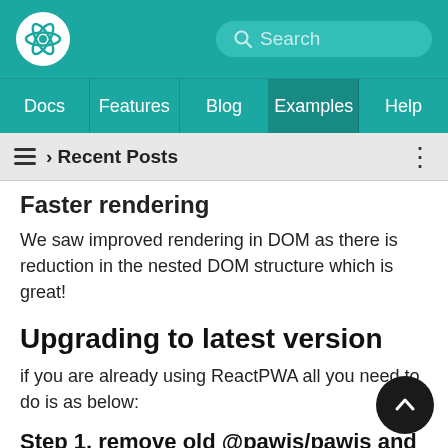React logo and Search bar navigation header
Docs | Features | Blog | Examples | Help
≡ › Recent Posts
Faster rendering
We saw improved rendering in DOM as there is reduction in the nested DOM structure which is great!
Upgrading to latest version
if you are already using ReactPWA all you need to do is as below:
Step 1. remove old @pawjs/pawjs and react version if you installed it manually